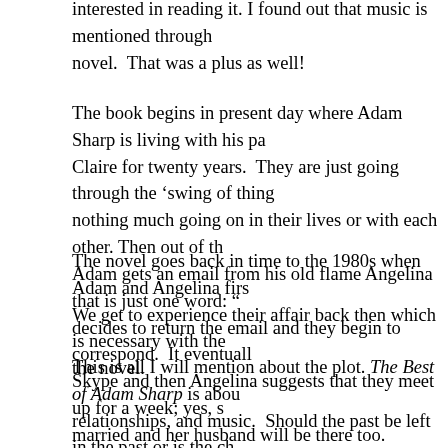interested in reading it. I found out that music is mentioned throughout the novel. That was a plus as well!
The book begins in present day where Adam Sharp is living with his partner Claire for twenty years. They are just going through the ‘swing of things’ with nothing much going on in their lives or with each other. Then out of the blue, Adam gets an email from his old flame Angelina that is just one word: “…” He decides to return the email and they begin to correspond. It eventually moves to Skype and then Angelina suggests that they meet up for a week; yes, she is married and her husband will be there too.
The novel goes back in time to the 1980s when Adam and Angelina first met. We get to experience their affair back then which is necessary with the plot of the novel.
This is all I will mention about the plot. The Best of Adam Sharp is about relationships, and music. Should the past be left in the past or is the chance to see ‘the one that got away’ again going to be worth it? What or who does Adam want?
I loved all the music that was referenced in the novel. I did not know al